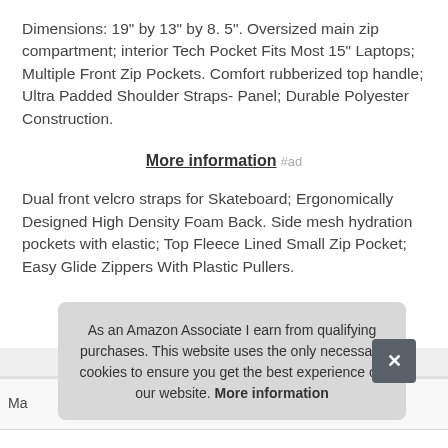Dimensions: 19" by 13" by 8. 5". Oversized main zip compartment; interior Tech Pocket Fits Most 15" Laptops; Multiple Front Zip Pockets. Comfort rubberized top handle; Ultra Padded Shoulder Straps- Panel; Durable Polyester Construction.
More information #ad
Dual front velcro straps for Skateboard; Ergonomically Designed High Density Foam Back. Side mesh hydration pockets with elastic; Top Fleece Lined Small Zip Pocket; Easy Glide Zippers With Plastic Pullers.
As an Amazon Associate I earn from qualifying purchases. This website uses the only necessary cookies to ensure you get the best experience on our website. More information